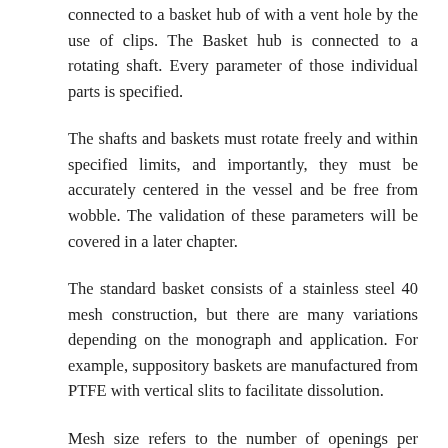connected to a basket hub of with a vent hole by the use of clips. The Basket hub is connected to a rotating shaft. Every parameter of those individual parts is specified.
The shafts and baskets must rotate freely and within specified limits, and importantly, they must be accurately centered in the vessel and be free from wobble. The validation of these parameters will be covered in a later chapter.
The standard basket consists of a stainless steel 40 mesh construction, but there are many variations depending on the monograph and application. For example, suppository baskets are manufactured from PTFE with vertical slits to facilitate dissolution.
Mesh size refers to the number of openings per linear inch